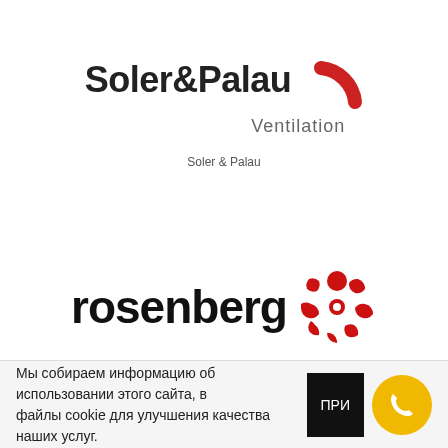[Figure (logo): Soler & Palau Ventilation logo — bold black text 'Soler&Palau' with a red arc/fan icon and italic gray 'Ventilation' text below]
Soler & Palau
[Figure (logo): Rosenberg logo — bold black lowercase 'rosenberg' text with a red circular fan/impeller icon to the right]
Rosenberg
Мы собираем информацию об использовании этого сайта, в файлы cookie для улучшения качества наших услуг.